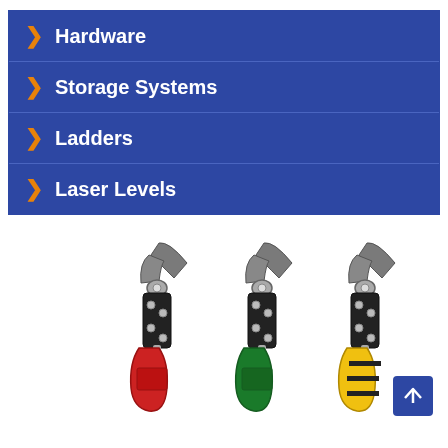Hardware
Storage Systems
Ladders
Laser Levels
[Figure (photo): Three pairs of aviation tin snips / metal shears with FATMAX branding. Left pair has red handles, center pair has green handles, right pair has yellow and black handles. All three have black metal bodies with silver blades.]